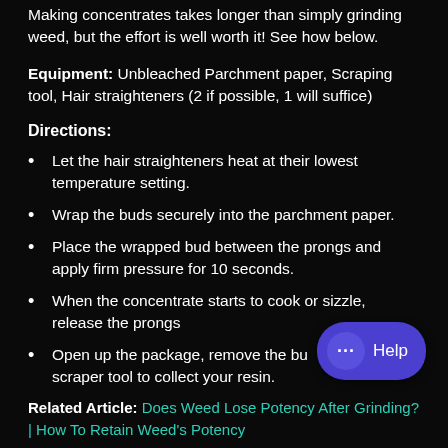Making concentrates takes longer than simply grinding weed, but the effort is well worth it! See how below.
Equipment: Unbleached Parchment paper, Scraping tool, Hair straighteners (2 if possible, 1 will suffice)
Directions:
Let the hair straighteners heat at their lowest temperature setting.
Wrap the buds securely into the parchment paper.
Place the wrapped bud between the prongs and apply firm pressure for 10 seconds.
When the concentrate starts to cook or sizzle, release the prongs
Open up the package, remove the bud, use your scraper tool to collect your resin.
Related Article: Does Weed Lose Potency After Grinding? | How To Retain Weed's Potency